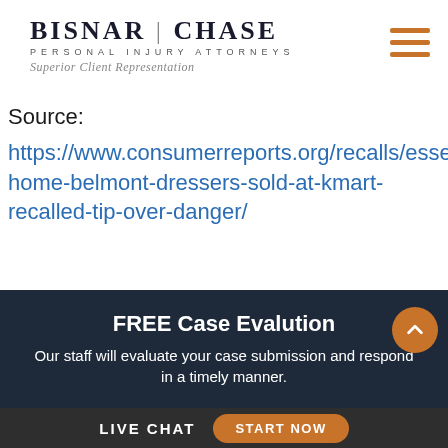[Figure (logo): Bisnar|Chase Personal Injury Attorneys logo with tagline 'Superior Client Representation']
Source:
https://www.consumerreports.org/recalls/essential-home-belmont-dressers-sold-at-kmart-recalled-tip-over-danger/
FREE Case Evalution
Our staff will evaluate your case submission and respond in a timely manner.
LIVE CHAT   START NOW